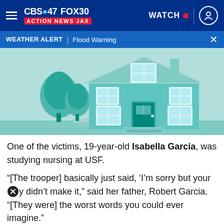CBS47 FOX30 ACTION NEWS JAX | WATCH
WEATHER ALERT | Flood Warning
[Figure (illustration): Illustration of a two-story blue/teal house with trees, windows, and a front door]
One of the victims, 19-year-old Isabella Garcia, was studying nursing at USF.
“[The trooper] basically just said, ‘I’m sorry but your [baby] didn’t make it,” said her father, Robert Garcia. “[They were] the worst words you could ever imagine.”